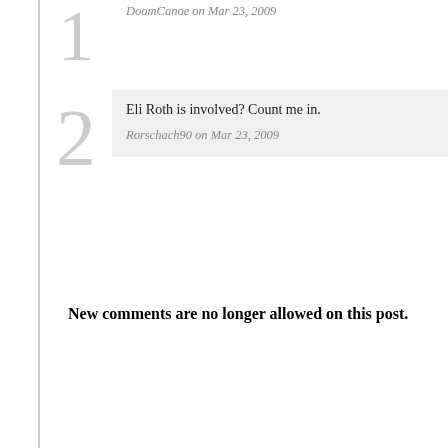DoomCanoe on Mar 23, 2009
Eli Roth is involved? Count me in.
Rorschach90 on Mar 23, 2009
New comments are no longer allowed on this post.